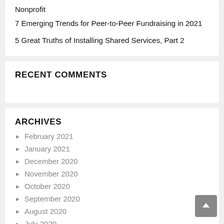Nonprofit
7 Emerging Trends for Peer-to-Peer Fundraising in 2021
5 Great Truths of Installing Shared Services, Part 2
RECENT COMMENTS
ARCHIVES
February 2021
January 2021
December 2020
November 2020
October 2020
September 2020
August 2020
July 2020